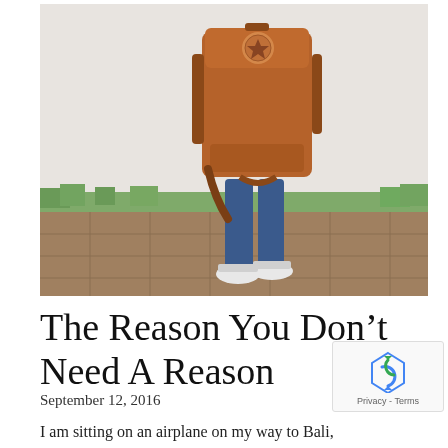[Figure (photo): A person standing on a tiled outdoor walkway holding a large brown/rust-colored Fjallraven Kanken-style backpack. The person is wearing blue jeans and white Converse sneakers. There is green grass and a white wall in the background.]
The Reason You Don't Need A Reason
September 12, 2016
I am sitting on an airplane on my way to Bali, Indonesia for the first time (in this lifetime at least).